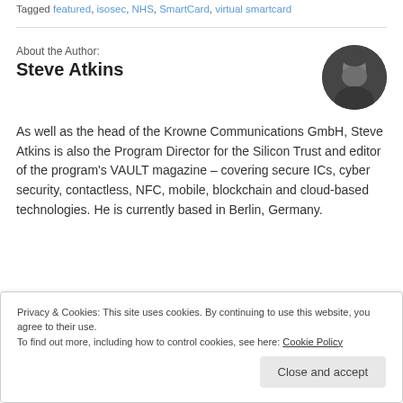Tagged featured, isosec, NHS, SmartCard, virtual smartcard
About the Author:
Steve Atkins
[Figure (photo): Circular black and white portrait photo of Steve Atkins, a bearded man]
As well as the head of the Krowne Communications GmbH, Steve Atkins is also the Program Director for the Silicon Trust and editor of the program's VAULT magazine – covering secure ICs, cyber security, contactless, NFC, mobile, blockchain and cloud-based technologies. He is currently based in Berlin, Germany.
Privacy & Cookies: This site uses cookies. By continuing to use this website, you agree to their use.
To find out more, including how to control cookies, see here: Cookie Policy